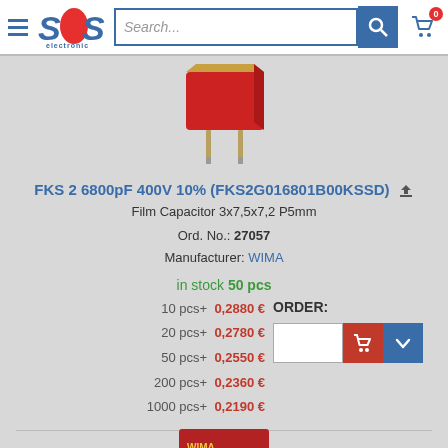SOS electronic — Search bar — Cart (0)
[Figure (photo): Red WIMA film capacitor with two metal leads, viewed from the side/front angle]
FKS 2 6800pF 400V 10% (FKS2G016801B00KSSD)
Film Capacitor 3x7,5x7,2 P5mm
Ord. No.: 27057
Manufacturer: WIMA
in stock 50 pcs
| Qty | Price |
| --- | --- |
| 10 pcs+ | 0,2880 € |
| 20 pcs+ | 0,2780 € |
| 50 pcs+ | 0,2550 € |
| 200 pcs+ | 0,2360 € |
| 1000 pcs+ | 0,2190 € |
ORDER:
[Figure (photo): Partial view of a red WIMA MKP 10 6800V/400 capacitor at the bottom of the page]